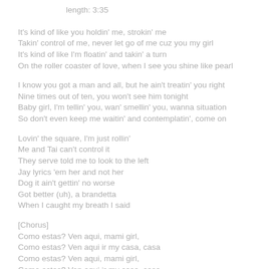length: 3:35
It's kind of like you holdin' me, strokin' me
Takin' control of me, never let go of me cuz you my girl
It's kind of like I'm floatin' and takin' a turn
On the roller coaster of love, when I see you shine like pearl
I know you got a man and all, but he ain't treatin' you right
Nine times out of ten, you won't see him tonight
Baby girl, I'm tellin' you, wan' smellin' you, wanna situation
So don't even keep me waitin' and contemplatin', come on
Lovin' the square, I'm just rollin'
Me and Tai can't control it
They serve told me to look to the left
Jay lyrics 'em her and not her
Dog it ain't gettin' no worse
Got better (uh), a brandetta
When I caught my breath I said
[Chorus]
Como estas? Ven aqui, mami girl,
Como estas? Ven aqui ir my casa, casa
Como estas? Ven aqui, mami girl,
Como estas? Ven aqui ir my casa, casa
Wednesday night at the moon,
Tryin' to find somethin' to get into
You wouldn't believe what the hell I seen
Drive by a Puerto Rican mama